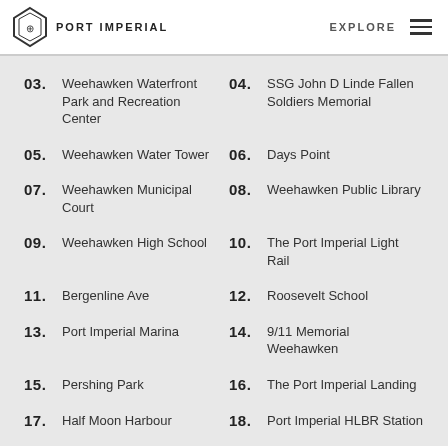PORT IMPERIAL | EXPLORE
03. Weehawken Waterfront Park and Recreation Center
04. SSG John D Linde Fallen Soldiers Memorial
05. Weehawken Water Tower
06. Days Point
07. Weehawken Municipal Court
08. Weehawken Public Library
09. Weehawken High School
10. The Port Imperial Light Rail
11. Bergenline Ave
12. Roosevelt School
13. Port Imperial Marina
14. 9/11 Memorial Weehawken
15. Pershing Park
16. The Port Imperial Landing
17. Half Moon Harbour
18. Port Imperial HLBR Station